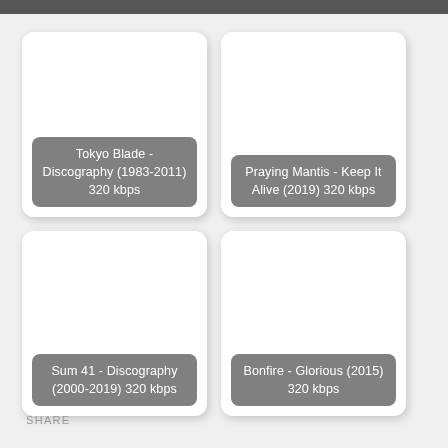[Figure (screenshot): Card: Tokyo Blade - Discography (1983-2011) 320 kbps]
[Figure (screenshot): Card: Praying Mantis - Keep It Alive (2019) 320 kbps]
[Figure (screenshot): Card: Sum 41 - Discography (2000-2019) 320 kbps]
[Figure (screenshot): Card: Bonfire - Glorious (2015) 320 kbps]
SHARE